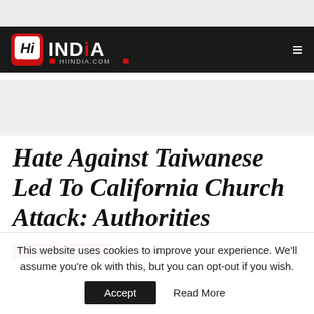Hi India — HIINDIA.COM
[Figure (logo): Hi India logo with speech bubble icon and text HIINDIA.COM on dark navigation bar]
Hate Against Taiwanese Led To California Church Attack: Authorities
HI INDIA
WORLD
This website uses cookies to improve your experience. We'll assume you're ok with this, but you can opt-out if you wish.
Accept   Read More